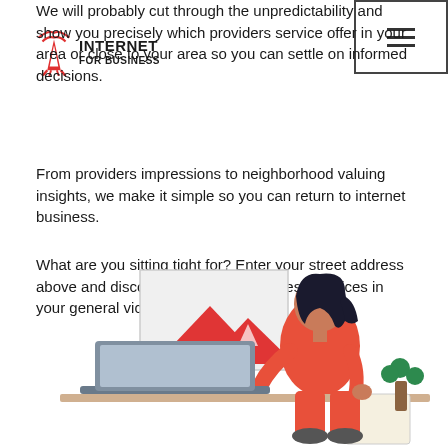[Figure (logo): Internet For Business logo with red radio tower/antenna icon and bold text]
We will probably cut through the unpredictability and show you precisely which providers service offer in your area or close to your area so you can settle on informed decisions.
From providers impressions to neighborhood valuing insights, we make it simple so you can return to internet business.
What are you sitting tight for? Enter your street address above and discover the internet business services in your general vicinity.
[Figure (illustration): Illustration of a woman in red sitting at a desk working on a laptop, with a framed mountain image (broken image placeholder) in the background, and a small green plant to the right]